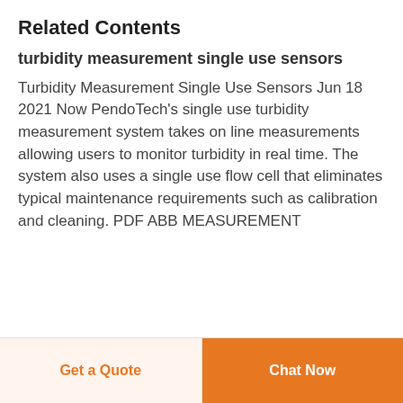Related Contents
turbidity measurement single use sensors
Turbidity Measurement Single Use Sensors Jun 18 2021 Now PendoTech's single use turbidity measurement system takes on line measurements allowing users to monitor turbidity in real time. The system also uses a single use flow cell that eliminates typical maintenance requirements such as calibration and cleaning. PDF ABB MEASUREMENT
Get a Quote
Chat Now